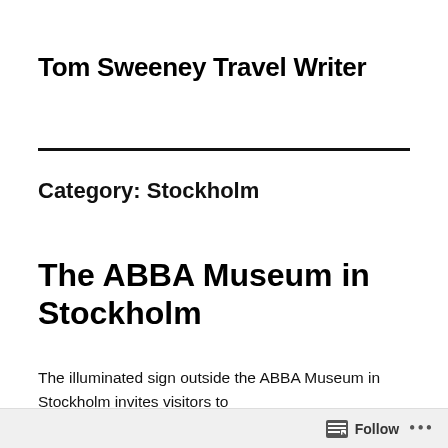Tom Sweeney Travel Writer
Category: Stockholm
The ABBA Museum in Stockholm
The illuminated sign outside the ABBA Museum in Stockholm invites visitors to
Follow  •••